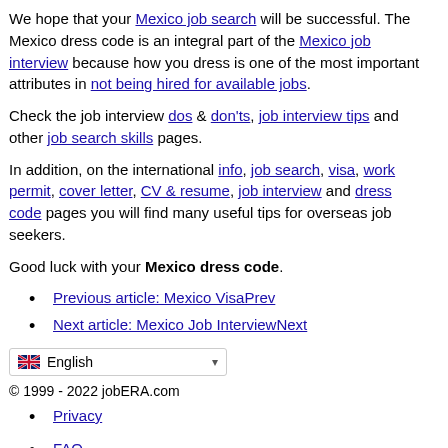We hope that your Mexico job search will be successful. The Mexico dress code is an integral part of the Mexico job interview because how you dress is one of the most important attributes in not being hired for available jobs.
Check the job interview dos & don'ts, job interview tips and other job search skills pages.
In addition, on the international info, job search, visa, work permit, cover letter, CV & resume, job interview and dress code pages you will find many useful tips for overseas job seekers.
Good luck with your Mexico dress code.
Previous article: Mexico VisaPrev
Next article: Mexico Job InterviewNext
[Figure (other): English language selector dropdown with UK flag]
© 1999 - 2022 jobERA.com
Privacy
FAQ
Back to top